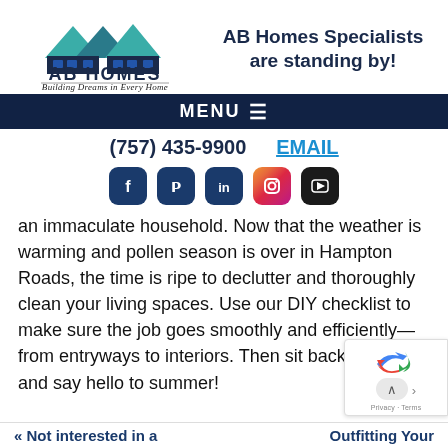[Figure (logo): AB Homes logo with house icon and tagline 'Building Dreams in Every Home']
AB Homes Specialists are standing by!
MENU ☰
(757) 435-9900    EMAIL
[Figure (infographic): Social media icons: Facebook, Pinterest, LinkedIn, Instagram, YouTube]
an immaculate household. Now that the weather is warming and pollen season is over in Hampton Roads, the time is ripe to declutter and thoroughly clean your living spaces. Use our DIY checklist to make sure the job goes smoothly and efficiently—from entryways to interiors. Then sit back, relax, and say hello to summer!
« Not interested in a    Outfitting Your